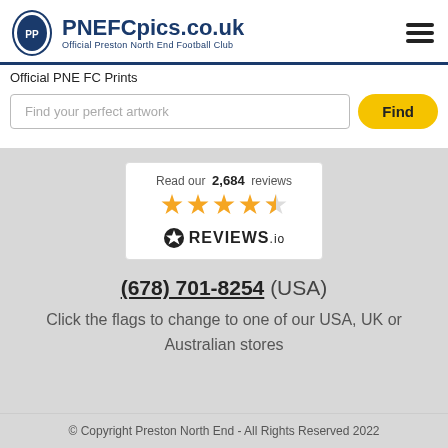PNEFCpics.co.uk - Official Preston North End Football Club
Official PNE FC Prints
Find your perfect artwork
[Figure (screenshot): Reviews.io widget showing 2,684 reviews with 4.5 star rating]
(678) 701-8254 (USA)
Click the flags to change to one of our USA, UK or Australian stores
© Copyright Preston North End - All Rights Reserved 2022